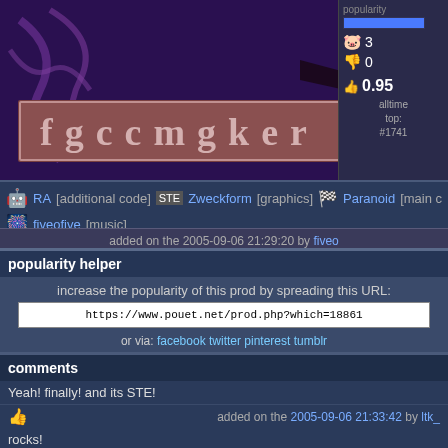[Figure (screenshot): Demo/intro screenshot showing stylized art with tentacles and a title bar reading 'fgccmgker' in decorative font on reddish-brown background]
RA [additional code]   Zweckform [graphics]   Paranoid [main code]   fiveofive [music]
added on the 2005-09-06 21:29:20 by fiveo
popularity helper
increase the popularity of this prod by spreading this URL:
https://www.pouet.net/prod.php?which=18861
or via: facebook twitter pinterest tumblr
comments
Yeah! finally! and its STE!
added on the 2005-09-06 21:33:42 by ltk_
rocks!
I don't really like the sonic pictures, but wow the sonic effect is a killer! Well done!
added on the 2005-09-06 21:44:11 by
very solid stuff, i'm in love with the sonic effect :-)